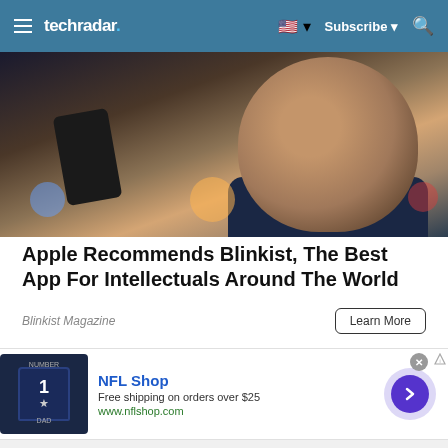techradar | Subscribe | Search
[Figure (photo): Man smiling while looking at his smartphone against a blurred bokeh background with city lights]
Apple Recommends Blinkist, The Best App For Intellectuals Around The World
Blinkist Magazine
Learn More
[Figure (other): NFL Shop advertisement banner with Dallas Cowboys jersey image, text: NFL Shop, Free shipping on orders over $25, www.nflshop.com, and a purple arrow button]